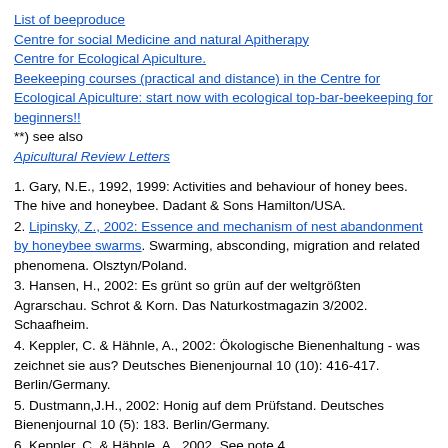List of beeproduce
Centre for social Medicine and natural Apitherapy
Centre for Ecological Apiculture.
Beekeeping courses (practical and distance) in the Centre for Ecological Apiculture: start now with ecological top-bar-beekeeping for beginners!!
**) see also Apicultural Review Letters
1. Gary, N.E., 1992, 1999: Activities and behaviour of honey bees. The hive and honeybee. Dadant & Sons Hamilton/USA.
2. Lipinsky, Z., 2002: Essence and mechanism of nest abandonment by honeybee swarms. Swarming, absconding, migration and related phenomena. Olsztyn/Poland.
3. Hansen, H., 2002: Es grünt so grün auf der weltgrößten Agrarschau. Schrot & Korn. Das Naturkostmagazin 3/2002. Schaafheim.
4. Keppler, C. & Hähnle, A., 2002: Ökologische Bienenhaltung - was zeichnet sie aus? Deutsches Bienenjournal 10 (10): 416-417. Berlin/Germany.
5. Dustmann,J.H., 2002: Honig auf dem Prüfstand. Deutsches Bienenjournal 10 (5): 183. Berlin/Germany.
6. Keppler, C. & Hähnle, A., 2002. See note 4.
7. Ibid.
8. Ibid.
9. Ibid.
10. In the Organic Beekeeping Journal 2001 (http://www.thehealingpath.com) you can find the recommendation for „organic beekeepers": „The best methods of managing the swarm impulse, is to clip the queens wings and catch the swarm from the ground".
11. Keppler, C. & Hähnle, A., 2002. Siehe Anmerkung 4.
12. T+T Consult Certification System, 2002: Discussion of standards for organic